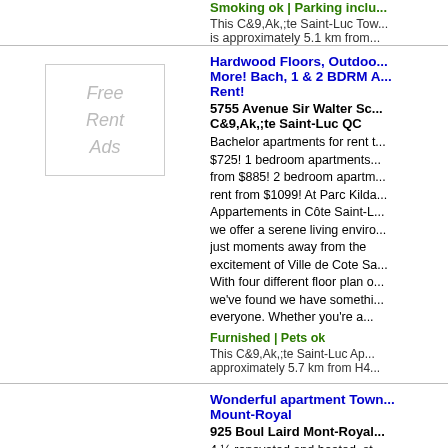Smoking ok | Parking inclu...
This C&9,Ak,;te Saint-Luc Tow... is approximately 5.1 km from...
Hardwood Floors, Outdoo... More! Bach, 1 & 2 BDRM A... Rent!
5755 Avenue Sir Walter Sc... C&9,Ak,;te Saint-Luc QC
[Figure (other): Free Rent Ads placeholder box]
Bachelor apartments for rent t... $725! 1 bedroom apartments... from $885! 2 bedroom apartm... rent from $1099! At Parc Kilda... Appartements in Côte Saint-L... we offer a serene living enviro... just moments away from the excitement of Ville de Cote Sa... With four different floor plan o... we've found we have somethi... everyone. Whether you're a...
Furnished | Pets ok
This C&9,Ak,;te Saint-Luc Apa... approximately 5.7 km from H4...
Wonderful apartment Town... Mount-Royal
925 Boul Laird Mont-Royal...
[Figure (photo): Apartment building photo thumbnail]
4 ½ renovated and heated, st... $1 500.00 per month,kitchen appliances & AC include., inte... garage extra, on-site concierge... walk to Connaught Park...